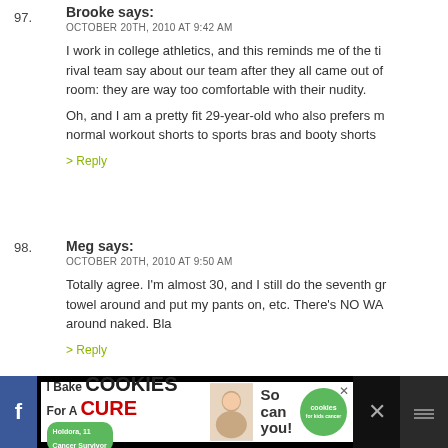97. Brooke says:
OCTOBER 20TH, 2010 AT 9:42 AM
I work in college athletics, and this reminds me of the ti rival team say about our team after they all came out of room: they are way too comfortable with their nudity.
Oh, and I am a pretty fit 29-year-old who also prefers m normal workout shorts to sports bras and booty shorts
> Reply
98. Meg says:
OCTOBER 20TH, 2010 AT 9:50 AM
Totally agree. I'm almost 30, and I still do the seventh gr towel around and put my pants on, etc. There's NO WA around naked. Bla
> Reply
[Figure (screenshot): Advertisement banner at bottom: 'I Bake COOKIES For A CURE' with a photo of a girl, 'So can you!' text, and a green cookies for kids cancer badge with a close button and dark panels on the right.]